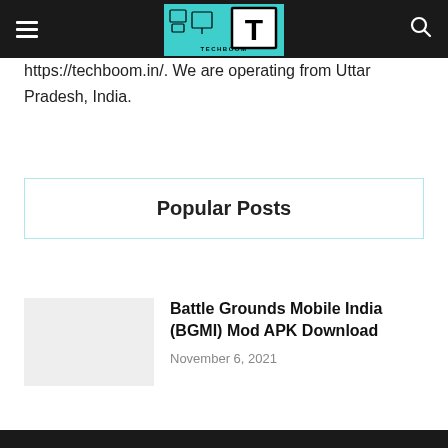[Figure (logo): TechBoom website logo with teal background, T letter in black bold, with text TECHBOOM]
https://techboom.in/. We are operating from Uttar Pradesh, India.
Popular Posts
Battle Grounds Mobile India (BGMI) Mod APK Download
November 6, 2021